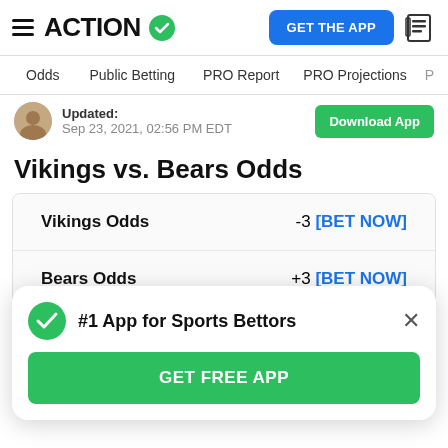ACTION [checkmark] GET THE APP [news icon]
Odds  Public Betting  PRO Report  PRO Projections
Updated: Sep 23, 2021, 02:56 PM EDT  Download App
Vikings vs. Bears Odds
|  |  |
| --- | --- |
| Vikings Odds | -3 [BET NOW] |
| Bears Odds | +3 [BET NOW] |
| Over/Under | 47 [BET NOW] |
#1 App for Sports Bettors  GET FREE APP